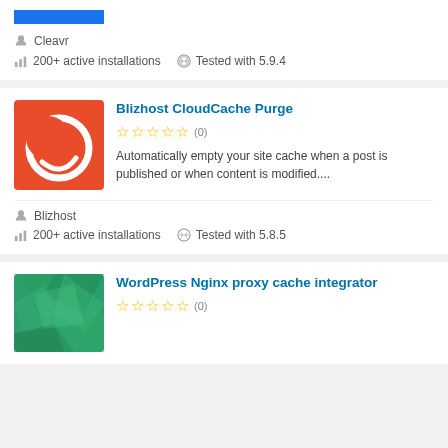[Figure (screenshot): Partial top card showing a blue button/image for a WordPress plugin (Cleavr), with meta info: 200+ active installations, Tested with 5.9.4]
Cleavr
200+ active installations
Tested with 5.9.4
[Figure (illustration): Blizhost CloudCache Purge plugin logo: orange/red square background with white crescent/circle logo]
Blizhost CloudCache Purge
(0)
Automatically empty your site cache when a post is published or when content is modified....
Blizhost
200+ active installations
Tested with 5.8.5
[Figure (illustration): WordPress Nginx proxy cache integrator plugin logo: green geometric/polygon pattern background]
WordPress Nginx proxy cache integrator
(0)